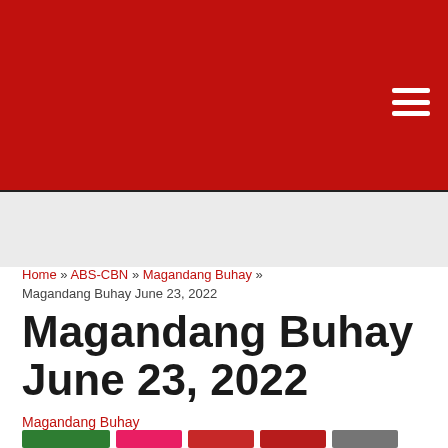[Figure (other): Red header banner with hamburger menu icon in top right corner]
Home » ABS-CBN » Magandang Buhay » Magandang Buhay June 23, 2022
Magandang Buhay June 23, 2022
Magandang Buhay